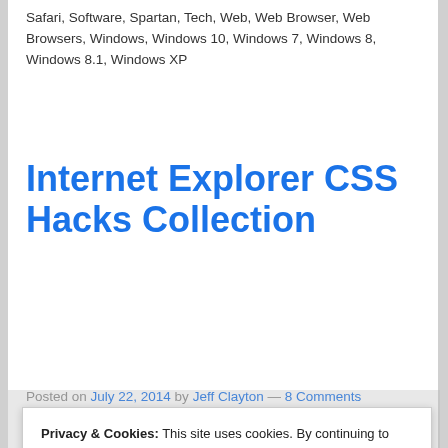Safari, Software, Spartan, Tech, Web, Web Browser, Web Browsers, Windows, Windows 10, Windows 7, Windows 8, Windows 8.1, Windows XP
Internet Explorer CSS Hacks Collection
Posted on July 22, 2014 by Jeff Clayton — 8 Comments
[Figure (logo): Internet Explorer logo - blue arc with yellow swoosh]
These are my legal CSS
Privacy & Cookies: This site uses cookies. By continuing to use this website, you agree to their use.
To find out more, including how to control cookies, see here: Cookie Policy
Close and accept